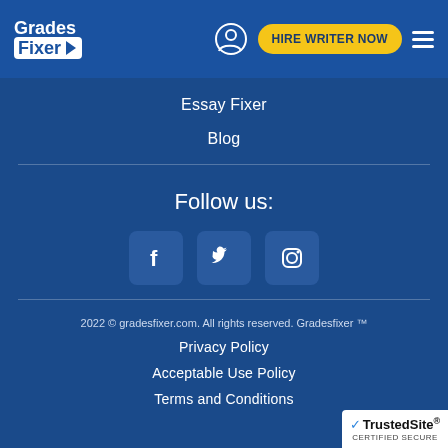Grades Fixer — HIRE WRITER NOW
Essay Fixer
Blog
Follow us:
[Figure (illustration): Social media icons: Facebook, Twitter, Instagram]
2022 © gradesfixer.com. All rights reserved. Gradesfixer ™
Privacy Policy
Acceptable Use Policy
Terms and Conditions
[Figure (logo): TrustedSite Certified Secure badge]